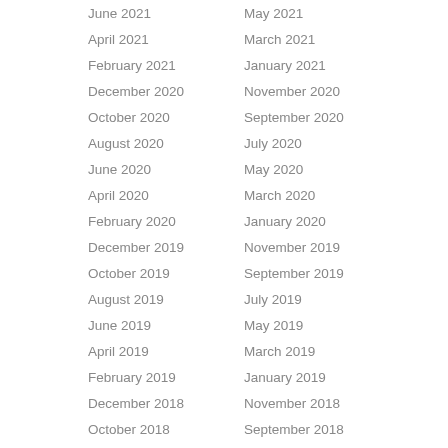June 2021
May 2021
April 2021
March 2021
February 2021
January 2021
December 2020
November 2020
October 2020
September 2020
August 2020
July 2020
June 2020
May 2020
April 2020
March 2020
February 2020
January 2020
December 2019
November 2019
October 2019
September 2019
August 2019
July 2019
June 2019
May 2019
April 2019
March 2019
February 2019
January 2019
December 2018
November 2018
October 2018
September 2018
August 2018
July 2018